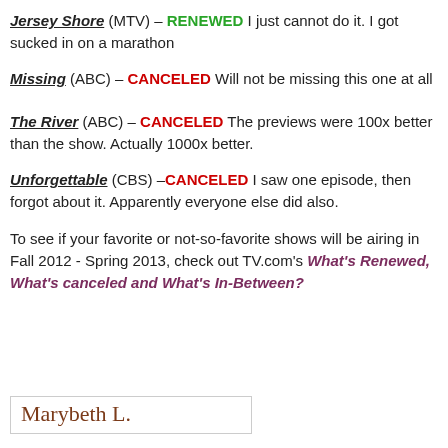Jersey Shore (MTV) – RENEWED I just cannot do it. I got sucked in on a marathon
Missing (ABC) – CANCELED Will not be missing this one at all
The River (ABC) – CANCELED The previews were 100x better than the show. Actually 1000x better.
Unforgettable (CBS) – CANCELED I saw one episode, then forgot about it. Apparently everyone else did also.
To see if your favorite or not-so-favorite shows will be airing in Fall 2012 - Spring 2013, check out TV.com's What's Renewed, What's canceled and What's In-Between?
[Figure (other): Blog signature reading 'Marybeth L.' in a decorative serif font inside a bordered box]